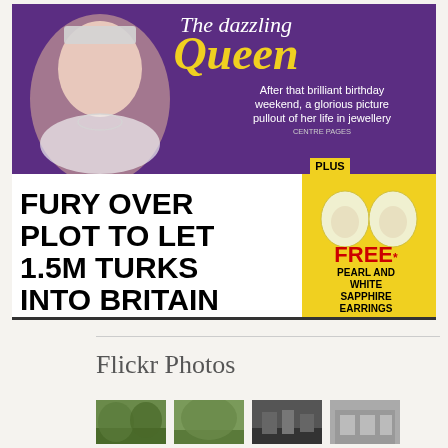[Figure (illustration): Newspaper front page showing 'The Dazzling Queen' headline with portrait of Queen Elizabeth wearing a tiara, jewellery pullout feature, and headline 'FURY OVER PLOT TO LET 1.5M TURKS INTO BRITAIN' with 'No.10 accused of cover-up before Brexit vote', plus a FREE pearl and white sapphire earrings offer on the right side.]
Flickr Photos
[Figure (photo): Four small thumbnail photos in a row at the bottom]